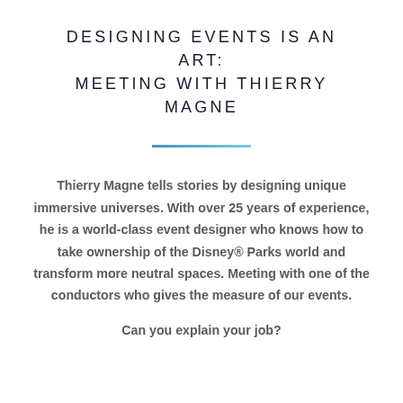DESIGNING EVENTS IS AN ART: MEETING WITH THIERRY MAGNE
Thierry Magne tells stories by designing unique immersive universes. With over 25 years of experience, he is a world-class event designer who knows how to take ownership of the Disney® Parks world and transform more neutral spaces. Meeting with one of the conductors who gives the measure of our events.
Can you explain your job?